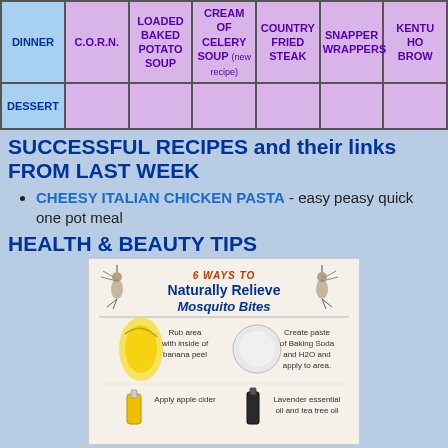|  | C.O.R.N. | LOADED BAKED POTATO SOUP | CREAM OF CELERY SOUP (new recipe) | COUNTRY FRIED STEAK | SNAPPER WRAPPERS | KENTU... HO... BRO... |
| --- | --- | --- | --- | --- | --- | --- |
| DINNER |  | LOADED BAKED POTATO SOUP | CREAM OF CELERY SOUP (new recipe) | COUNTRY FRIED STEAK | SNAPPER WRAPPERS | KENTU... HO... BRO... |
| DESSERT |  |  |  |  |  |  |
SUCCESSFUL RECIPES and their links FROM LAST WEEK
CHEESY ITALIAN CHICKEN PASTA - easy peasy quick one pot meal
HEALTH & BEAUTY TIPS
[Figure (infographic): 6 WAYS TO Naturally Relieve Mosquito Bites infographic with tips: Rub area with inside of banana peel; Create paste of Baking Soda and H2O and apply to area; Apply apple cider; Lavender essential oil and tea tree oil]